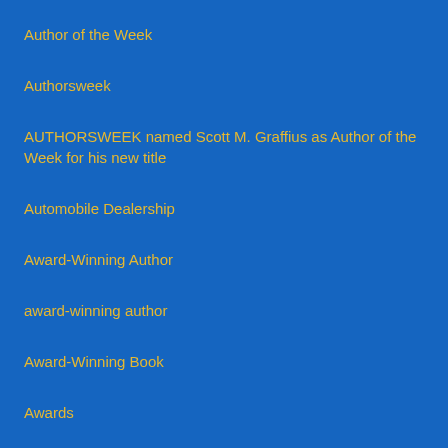Author of the Week
Authorsweek
AUTHORSWEEK named Scott M. Graffius as Author of the Week for his new title
Automobile Dealership
Award-Winning Author
award-winning author
Award-Winning Book
Awards
Aware-winning author